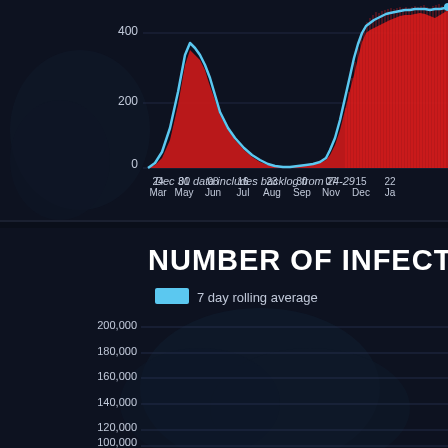[Figure (area-chart): Area chart showing COVID-19 cases and 7-day rolling average from March to January. Red area shows daily cases, blue line shows 7-day rolling average. Y-axis goes 0-400. X-axis labels: 24 Mar, 01 May, 08 Jun, 16 Jul, 23 Aug, 30 Sep, 07 Nov, 15 Dec, 22 Jan.]
Dec 30 data includes backlog from 24-29
NUMBER OF INFECTION
[Figure (area-chart): Area chart of number of infections with 7 day rolling average. Y-axis gridlines at 100,000, 120,000, 140,000, 160,000, 180,000, 200,000. Chart is partially visible, showing beginning of a rising curve.]